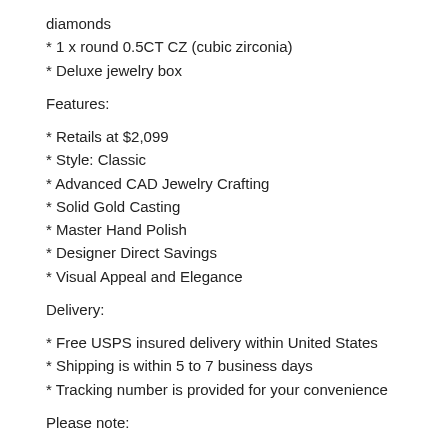diamonds
* 1 x round 0.5CT CZ (cubic zirconia)
* Deluxe jewelry box
Features:
* Retails at $2,099
* Style: Classic
* Advanced CAD Jewelry Crafting
* Solid Gold Casting
* Master Hand Polish
* Designer Direct Savings
* Visual Appeal and Elegance
Delivery:
* Free USPS insured delivery within United States
* Shipping is within 5 to 7 business days
* Tracking number is provided for your convenience
Please note: